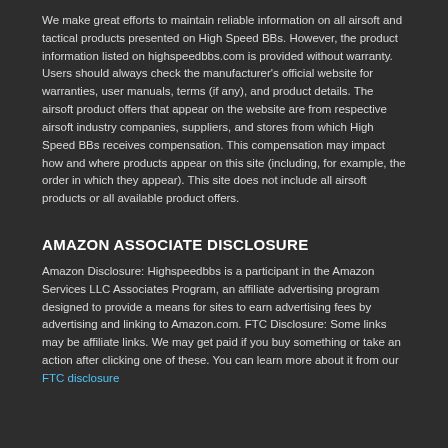We make great efforts to maintain reliable information on all airsoft and tactical products presented on High Speed BBs. However, the product information listed on highspeedbbs.com is provided without warranty. Users should always check the manufacturer's official website for warranties, user manuals, terms (if any), and product details. The airsoft product offers that appear on the website are from respective airsoft industry companies, suppliers, and stores from which High Speed BBs receives compensation. This compensation may impact how and where products appear on this site (including, for example, the order in which they appear). This site does not include all airsoft products or all available product offers.
AMAZON ASSOCIATE DISCLOSURE
Amazon Disclosure: Highspeedbbs is a participant in the Amazon Services LLC Associates Program, an affiliate advertising program designed to provide a means for sites to earn advertising fees by advertising and linking to Amazon.com. FTC Disclosure: Some links may be affiliate links. We may get paid if you buy something or take an action after clicking one of these. You can learn more about it from our